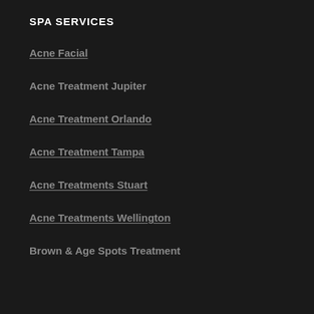SPA SERVICES
Acne Facial
Acne Treatment Jupiter
Acne Treatment Orlando
Acne Treatment Tampa
Acne Treatments Stuart
Acne Treatments Wellington
Brown & Age Spots Treatment